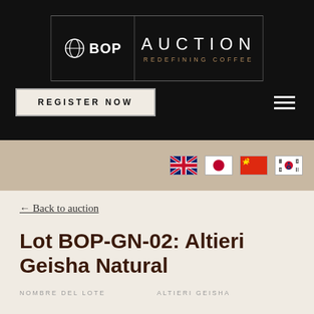[Figure (logo): BOP Auction logo with coffee ball icon, 'BOP' text, vertical divider, 'AUCTION' text, and 'REDEFINING COFFEE' tagline in gold]
REGISTER NOW
[Figure (infographic): Language selector flags: UK/English, Japan, China, South Korea]
← Back to auction
Lot BOP-GN-02: Altieri Geisha Natural
NOMBRE DEL LOTE   ALTIERI GEISHA